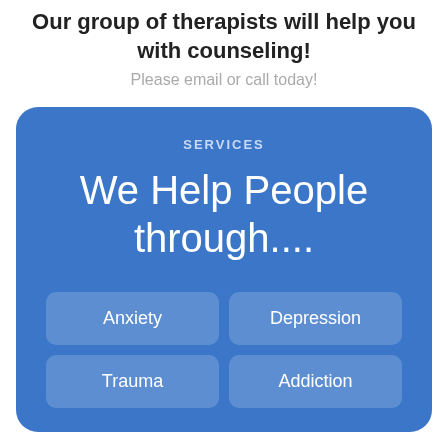Our group of therapists will help you with counseling!
Please email or call today!
SERVICES
We Help People through....
Anxiety
Depression
Trauma
Addiction